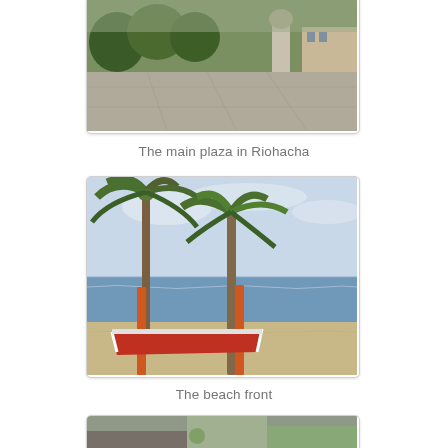[Figure (photo): Photograph of the main plaza in Riohacha, showing a wide open paved square with trees, a monument/statue, and buildings in the background on a cloudy day.]
The main plaza in Riohacha
[Figure (photo): Photograph of a beach front with palm trees, a red and white boat on the sand, orange poles, and a calm sea with a light blue sky in the background.]
The beach front
[Figure (photo): Partial photograph visible at the bottom of the page showing a ground-level scene, partially cut off.]